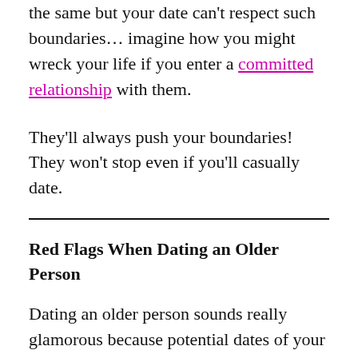the same but your date can't respect such boundaries… imagine how you might wreck your life if you enter a committed relationship with them.
They'll always push your boundaries! They won't stop even if you'll casually date.
Red Flags When Dating an Older Person
Dating an older person sounds really glamorous because potential dates of your age might not be as mature.
Of course, you can't forget that they're much